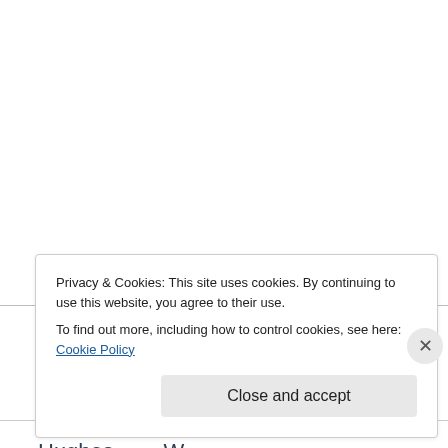| Hughes | T. | New Straitsville | Strai Co. |
| Hughes | W. |  |  |
Privacy & Cookies: This site uses cookies. By continuing to use this website, you agree to their use.
To find out more, including how to control cookies, see here: Cookie Policy
Close and accept